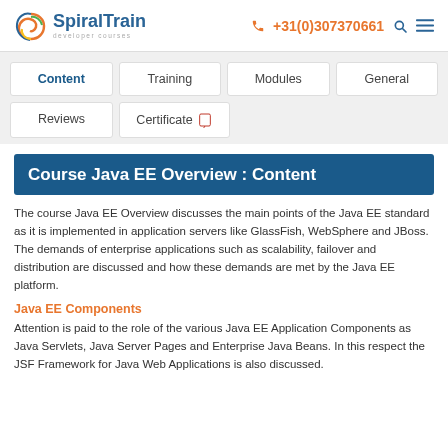SpiralTrain developer courses | +31(0)307370661
Content | Training | Modules | General | Reviews | Certificate
Course Java EE Overview : Content
The course Java EE Overview discusses the main points of the Java EE standard as it is implemented in application servers like GlassFish, WebSphere and JBoss. The demands of enterprise applications such as scalability, failover and distribution are discussed and how these demands are met by the Java EE platform.
Java EE Components
Attention is paid to the role of the various Java EE Application Components as Java Servlets, Java Server Pages and Enterprise Java Beans. In this respect the JSF Framework for Java Web Applications is also discussed.